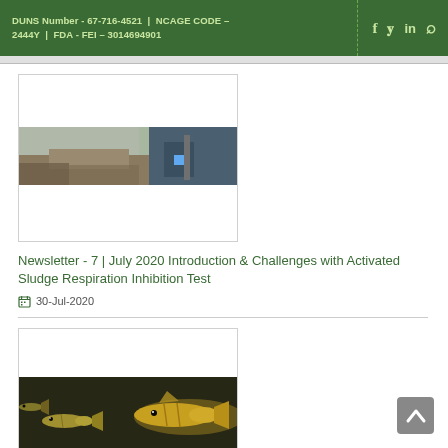DUNS Number - 67-716-4521 | NCAGE CODE – 2444Y | FDA - FEI – 3014694901
[Figure (photo): Article thumbnail image showing industrial/environmental scene with sludge or sediment and a person in gloves working outdoors.]
Newsletter - 7 | July 2020 Introduction & Challenges with Activated Sludge Respiration Inhibition Test
30-Jul-2020
[Figure (photo): Article thumbnail image showing small fish (zebrafish or similar) in an aquatic environment.]